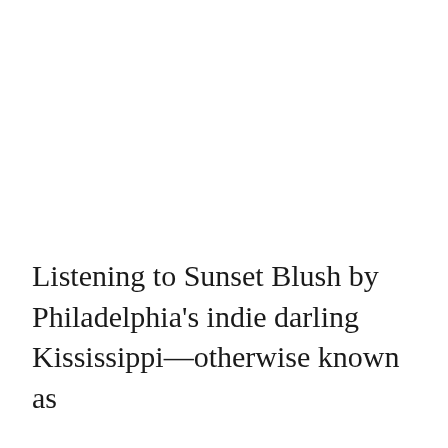Listening to Sunset Blush by Philadelphia's indie darling Kississippi—otherwise known as